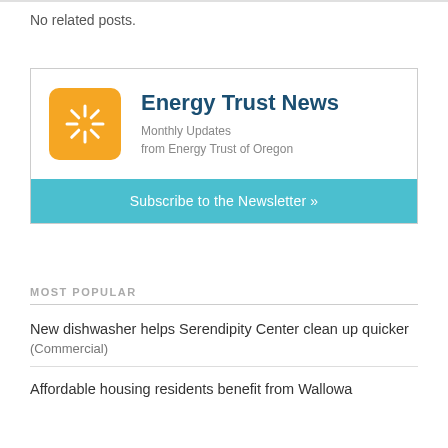No related posts.
[Figure (infographic): Energy Trust News newsletter signup box with orange logo icon showing a starburst/snowflake symbol, title 'Energy Trust News', subtitle 'Monthly Updates from Energy Trust of Oregon', and a teal 'Subscribe to the Newsletter »' button.]
MOST POPULAR
New dishwasher helps Serendipity Center clean up quicker
(Commercial)
Affordable housing residents benefit from Wallowa